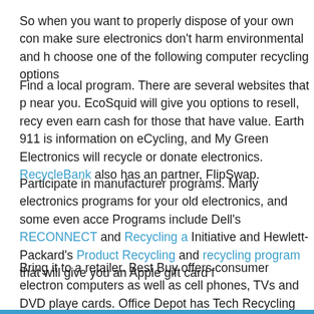So when you want to properly dispose of your own computer, make sure electronics don't harm environmental and human health, choose one of the following computer recycling options...
Find a local program. There are several websites that provide near you. EcoSquid will give you options to resell, recycle, or even earn cash for those that have value. Earth 911 is information on eCycling, and My Green Electronics will recycle or donate electronics. RecycleBank also has an partner, FlipSwap.
Participate in manufacturer programs. Many electronics programs for your old electronics, and some even accept. Programs include Dell's RECONNECT and Recycling a Initiative and Hewlett-Packard's Product Recycling and recycling program that will give you an Apple gift card f
Bring it to a retailer. Best Buy offers consumer electronics computers as well as cell phones, TVs and DVD player cards. Office Depot has Tech Recycling Boxes, which d